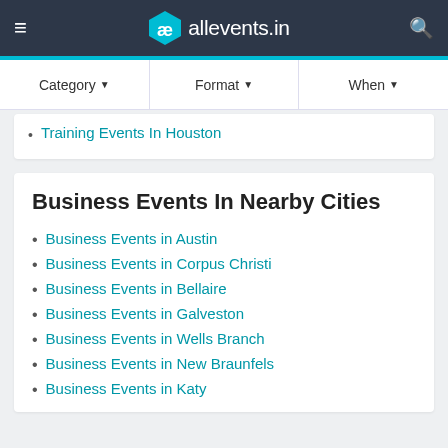allevents.in
Category ▾   Format ▾   When ▾
Training Events In Houston
Business Events In Nearby Cities
Business Events in Austin
Business Events in Corpus Christi
Business Events in Bellaire
Business Events in Galveston
Business Events in Wells Branch
Business Events in New Braunfels
Business Events in Katy